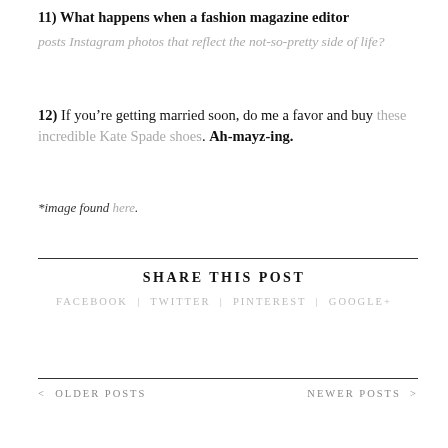11) What happens when a fashion magazine editor posts Instagram photos that reflect the not-so-pretty side of life?
12) If you’re getting married soon, do me a favor and buy these incredible Kate Spade shoes. Ah-mayz-ing.
*image found here.
SHARE THIS POST
FACEBOOK | TWITTER | PINTEREST | GOOGLE+
< OLDER POSTS
NEWER POSTS >